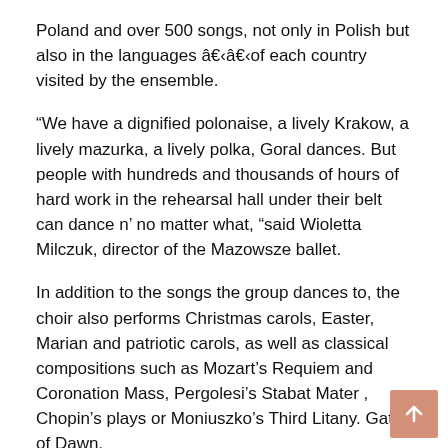Poland and over 500 songs, not only in Polish but also in the languages â€‹â€‹of each country visited by the ensemble.
“We have a dignified polonaise, a lively Krakow, a lively mazurka, a lively polka, Goral dances. But people with hundreds and thousands of hours of hard work in the rehearsal hall under their belt can dance n’ no matter what, “said Wioletta Milczuk, director of the Mazowsze ballet.
In addition to the songs the group dances to, the choir also performs Christmas carols, Easter, Marian and patriotic carols, as well as classical compositions such as Mozart’s Requiem and Coronation Mass, Pergolesi’s Stabat Mater , Chopin’s plays or Moniuszko’s Third Litany. Gate of Dawn.
Mazowsze’s concert on November 11 is the grand finale of a celebratory year to mark 100 years since the two states formally established relations on April 18, 1921. The Polish Embassy kicked off in May with a video highlighting the essential links that countries have developed. It has also